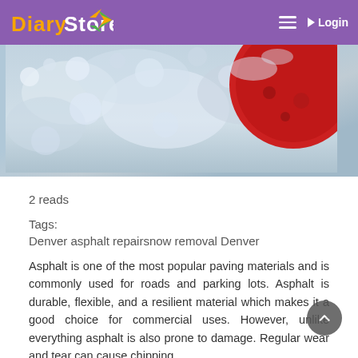Diary Store — Login
[Figure (photo): Close-up photo of snow-covered surface with a red circular object partially visible in the upper right, appearing to be an outdoor winter scene related to asphalt or parking lot]
2 reads
Tags:
Denver asphalt repairsnow removal Denver
Asphalt is one of the most popular paving materials and is commonly used for roads and parking lots. Asphalt is durable, flexible, and a resilient material which makes it a good choice for commercial uses. However, unlike everything asphalt is also prone to damage. Regular wear and tear can cause chipping